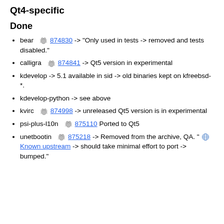Qt4-specific
Done
bear 🐛 874830 -> "Only used in tests -> removed and tests disabled."
calligra 🐛 874841 -> Qt5 version in experimental
kdevelop -> 5.1 available in sid -> old binaries kept on kfreebsd-*.
kdevelop-python -> see above
kvirc 🐛 874998 -> unreleased Qt5 version is in experimental
psi-plus-l10n 🐛 875110 Ported to Qt5
unetbootin 🐛 875218 -> Removed from the archive, QA. "🌐 Known upstream -> should take minimal effort to port -> bumped."